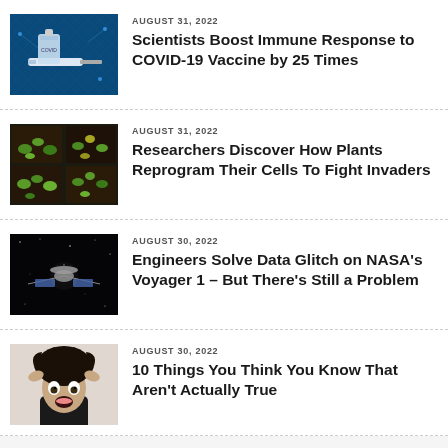[Figure (photo): Vaccine vial and syringe on blue digital background]
AUGUST 31, 2022
Scientists Boost Immune Response to COVID-19 Vaccine by 25 Times
[Figure (photo): Green plants growing in dark soil trays]
AUGUST 31, 2022
Researchers Discover How Plants Reprogram Their Cells To Fight Invaders
[Figure (photo): Spacecraft in black space, NASA Voyager 1]
AUGUST 30, 2022
Engineers Solve Data Glitch on NASA's Voyager 1 – But There's Still a Problem
[Figure (photo): Person with wild hair making shocked expression]
AUGUST 30, 2022
10 Things You Think You Know That Aren't Actually True